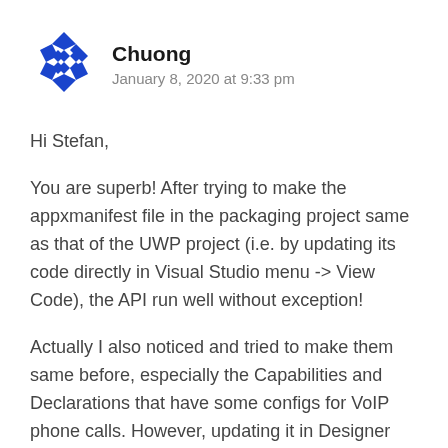[Figure (illustration): Blue diamond/cross pattern avatar icon for user Chuong]
Chuong
January 8, 2020 at 9:33 pm
Hi Stefan,
You are superb! After trying to make the appxmanifest file in the packaging project same as that of the UWP project (i.e. by updating its code directly in Visual Studio menu -> View Code), the API run well without exception!
Actually I also noticed and tried to make them same before, especially the Capabilities and Declarations that have some configs for VoIP phone calls. However, updating it in Designer View in Visual Studio (i.e. VS menu -> View Designer) did not generate enough config for VoIP phone calls support, so this config needs to